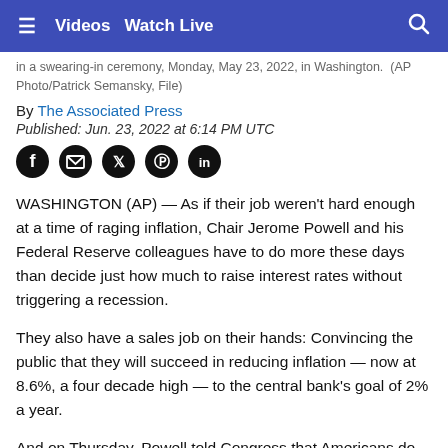≡  Videos  Watch Live  🔍
in a swearing-in ceremony, Monday, May 23, 2022, in Washington.  (AP Photo/Patrick Semansky, File)
By The Associated Press
Published: Jun. 23, 2022 at 6:14 PM UTC
[Figure (other): Social media share icons: Facebook, Email, Twitter, Pinterest, LinkedIn]
WASHINGTON (AP) — As if their job weren't hard enough at a time of raging inflation, Chair Jerome Powell and his Federal Reserve colleagues have to do more these days than decide just how much to raise interest rates without triggering a recession.
They also have a sales job on their hands: Convincing the public that they will succeed in reducing inflation — now at 8.6%, a four decade high — to the central bank's goal of 2% a year.
And on Thursday, Powell told Congress that Americans do